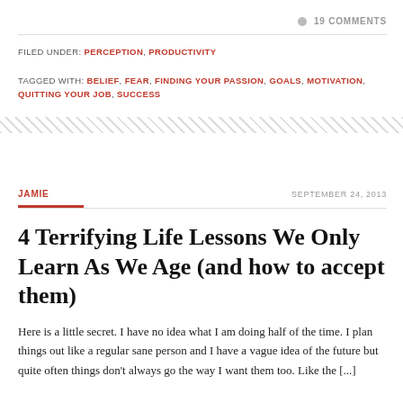19 COMMENTS
FILED UNDER: PERCEPTION, PRODUCTIVITY
TAGGED WITH: BELIEF, FEAR, FINDING YOUR PASSION, GOALS, MOTIVATION, QUITTING YOUR JOB, SUCCESS
JAMIE    SEPTEMBER 24, 2013
4 Terrifying Life Lessons We Only Learn As We Age (and how to accept them)
Here is a little secret. I have no idea what I am doing half of the time. I plan things out like a regular sane person and I have a vague idea of the future but quite often things don't always go the way I want them too. Like the [...]